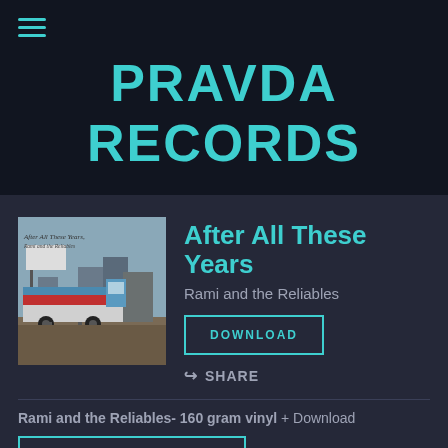☰ (hamburger menu)
PRAVDA RECORDS
[Figure (photo): Album cover for 'After All These Years' by Rami and the Reliables showing a street scene with a blue truck/bus and industrial background]
After All These Years
Rami and the Reliables
DOWNLOAD
↩ SHARE
Rami and the Reliables- 160 gram vinyl + Download
ADD TO CART: $25.00